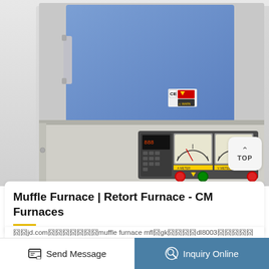[Figure (photo): Muffle furnace / retort furnace laboratory equipment. The upper portion shows a blue-door chamber furnace body with a white/cream colored casing and control panel at the bottom front featuring two analog meters (gauges), a digital controller on the left, red and green indicator buttons, and warning labels. The image is cropped showing primarily the lower half of the furnace.]
Muffle Furnace | Retort Furnace - CM Furnaces
囧囧jd.com囧囧囧囧囧囧囧muffle furnace mfl囧gk囧囧囧囧dl8003囧囧囧囧囧囧囧囧囧囧囧囧
囧囧muffle furnace mfl囧gk囧囧囧囧dl8003囧囧囧囧囧囧囧囧囧muffle furnace mfl囧gk囧囧囧囧dl8003囧囧囧囧囧囧囧囧囧囧